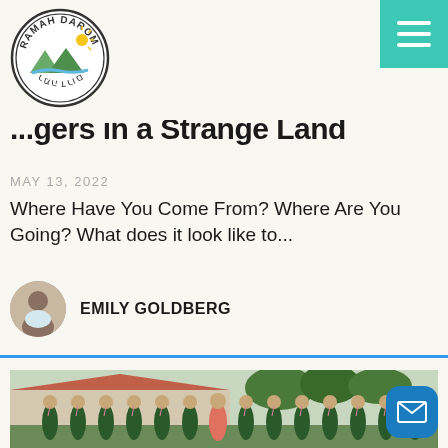Ramah Darom logo and navigation
...gers in a Strange Land
MAY 13, 2022
Where Have You Come From? Where Are You Going? What does it look like to...
EMILY GOLDBERG
[Figure (photo): Group photo of approximately 20 young people in dark green shirts with lanyards, standing in front of a building with a terracotta roof, outdoors]
Email contact button